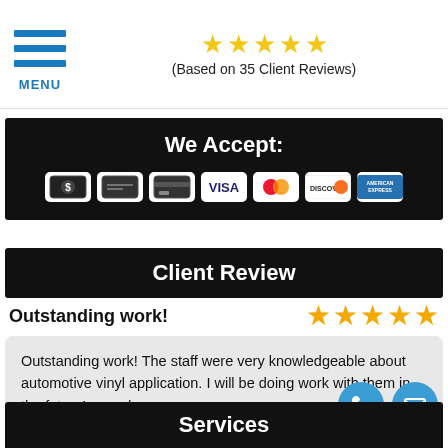[Figure (screenshot): Top navigation bar with hamburger menu icon and MENU label in blue, alongside star rating display and '(Based on 35 Client Reviews)' text]
We Accept:
[Figure (infographic): Payment method icons: cash, check, credit card, VISA, Mastercard, Discover, American Express on black background]
Client Review
Outstanding work!
Outstanding work! The staff were very knowledgeable about automotive vinyl application. I will be doing work with them in the future!... read more
- Angelina Manly
Services